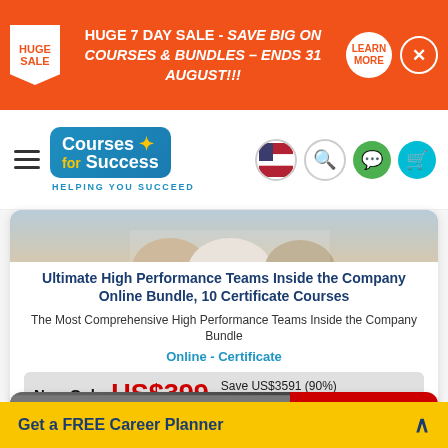[Figure (screenshot): Orange promotional banner: HUGE 7 DAY SALE - SAVE BIG ON COURSES & BUNDLES – ENDS 31 AUGUST!!! with LEARN MORE button and close X button]
[Figure (logo): Courses for Success logo with tagline HELPING YOU SUCCEED]
[Figure (photo): Partial photo of people in a professional/team setting]
Ultimate High Performance Teams Inside the Company Online Bundle, 10 Certificate Courses
The Most Comprehensive High Performance Teams Inside the Company Bundle
Online - Certificate
Now Only US$399 Save US$3591 (90%) OFF RRP US$3990
[Figure (screenshot): Get Info Pack (orange) and Add to Cart (green) buttons with checkbox]
[Figure (photo): Partial view of second course card with people photo and SALE ENDS 31 AUG red tag]
Get a FREE Career Planner